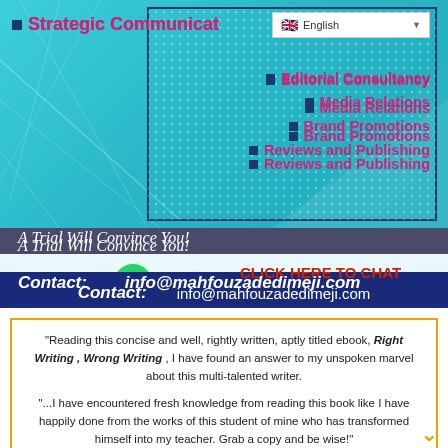[Figure (infographic): Teal blue banner with geometric line decorations, dark navy border box with dot pattern overlay, and a language selector (English) in top right corner]
Strategic Communicat...
Editorial Consultancy
Media Relations
Brand Promotions
Reviews and Publishing
A Trial Will Convince You!
CLICK HERE TO CHAT
Contact:   info@mahfouzadedimeji.com
"Reading this concise and well, rightly written, aptly titled ebook, Right Writing , Wrong Writing , I have found an answer to my unspoken marvel about this multi-talented writer.
"...I have encountered fresh knowledge from reading this book like I have happily done from the works of this student of mine who has transformed himself into my teacher. Grab a copy and be wise!"
- Prof , Olu Obafemi , FNAL , NNOM